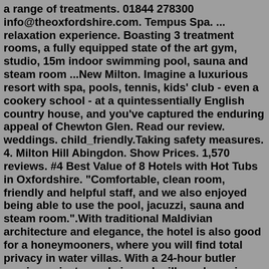a range of treatments. 01844 278300 info@theoxfordshire.com. Tempus Spa. ... relaxation experience. Boasting 3 treatment rooms, a fully equipped state of the art gym, studio, 15m indoor swimming pool, sauna and steam room ...New Milton. Imagine a luxurious resort with spa, pools, tennis, kids' club - even a cookery school - at a quintessentially English country house, and you've captured the enduring appeal of Chewton Glen. Read our review. weddings. child_friendly.Taking safety measures. 4. Milton Hill Abingdon. Show Prices. 1,570 reviews. #4 Best Value of 8 Hotels with Hot Tubs in Oxfordshire. "Comfortable, clean room, friendly and helpful staff, and we also enjoyed being able to use the pool, jacuzzi, sauna and steam room.".With traditional Maldivian architecture and elegance, the hotel is also good for a honeymooners, where you will find total privacy in water villas. With a 24-hour butler service, private pools in each villa and spacious rooms, OZEN Reserve is truly a luxury getaway.Doubletree by Hilton The Oxford Belfry 8.4.